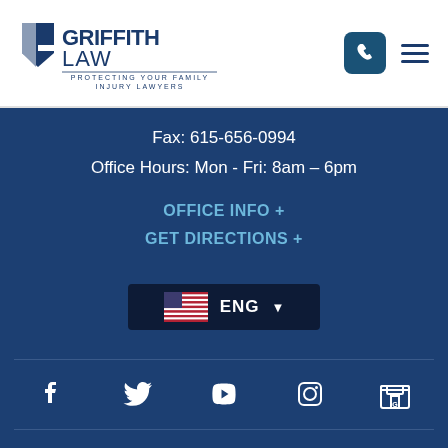[Figure (logo): Griffith Law – Protecting Your Family – Injury Lawyers logo with blue geometric G icon]
Fax: 615-656-0994
Office Hours: Mon - Fri: 8am – 6pm
OFFICE INFO +
GET DIRECTIONS +
[Figure (screenshot): Language selector showing US flag and ENG with dropdown arrow]
[Figure (infographic): Social media icons row: Facebook, Twitter, YouTube, Instagram, Google My Business]